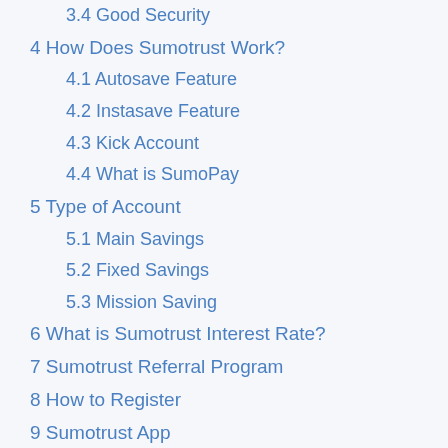3.4 Good Security
4 How Does Sumotrust Work?
4.1 Autosave Feature
4.2 Instasave Feature
4.3 Kick Account
4.4 What is SumoPay
5 Type of Account
5.1 Main Savings
5.2 Fixed Savings
5.3 Mission Saving
6 What is Sumotrust Interest Rate?
7 Sumotrust Referral Program
8 How to Register
9 Sumotrust App
10 Sumotrust FAQ
10.1 Is Sumotrust Legit?